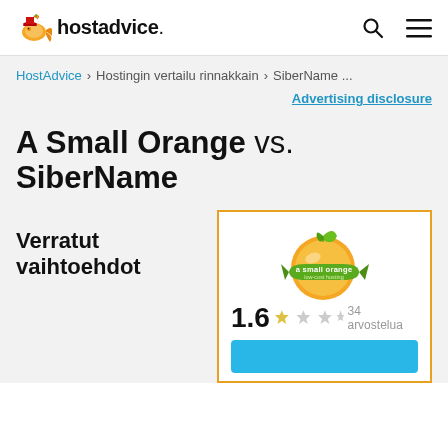hostadvice.
HostAdvice > Hostingin vertailu rinnakkain > SiberName ...
Advertising disclosure
A Small Orange vs. SiberName
Verratut vaihtoehdot
[Figure (logo): A Small Orange hosting logo - orange with green leaf, rating 1.6, 34 arvostelua (34 reviews)]